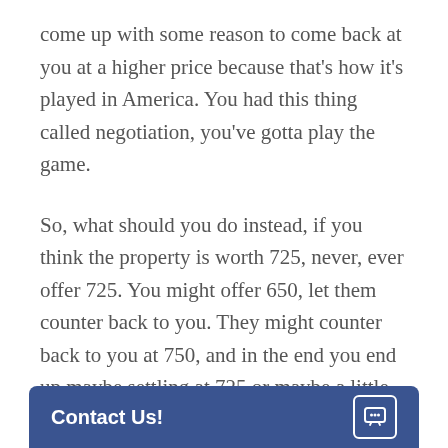come up with some reason to come back at you at a higher price because that's how it's played in America. You had this thing called negotiation, you've gotta play the game.
So, what should you do instead, if you think the property is worth 725, never, ever offer 725. You might offer 650, let them counter back to you. They might counter back to you at 750, and in the end you end up maybe settling at 725 or maybe a little less. But it's that very act of going back and forth that's so vital to the seller believing they actually got a good price. Don't deny them their God given right to negotiate. And since you know they're going to negotiate, never set a price that is your max… again, you can't…
[Figure (other): Contact Us button/chat widget bar in dark blue at the bottom of the screen]